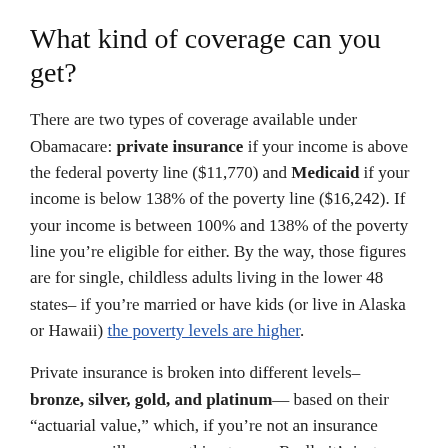What kind of coverage can you get?
There are two types of coverage available under Obamacare: private insurance if your income is above the federal poverty line ($11,770) and Medicaid if your income is below 138% of the poverty line ($16,242). If your income is between 100% and 138% of the poverty line you’re eligible for either. By the way, those figures are for single, childless adults living in the lower 48 states– if you’re married or have kids (or live in Alaska or Hawaii) the poverty levels are higher.
Private insurance is broken into different levels– bronze, silver, gold, and platinum— based on their “actuarial value,” which, if you’re not an insurance company, will mean nothing to you. Really it’s just a way to tell how good the plans are. All you need to know is that bronze plans will be cheapest, but have